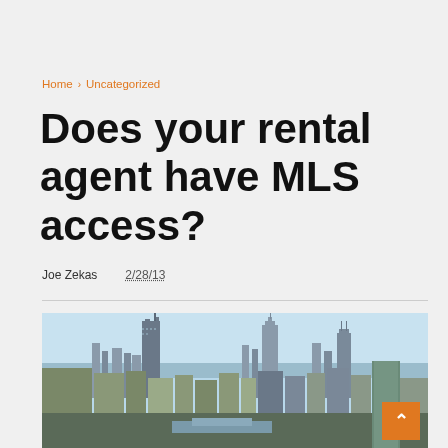Home › Uncategorized
Does your rental agent have MLS access?
Joe Zekas   2/28/13
[Figure (photo): Aerial view of Chicago city skyline with tall skyscrapers including Willis Tower and Trump Tower, blue sky and Lake Michigan visible in background]